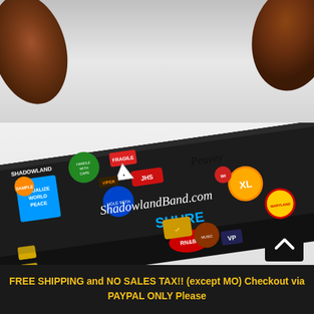[Figure (photo): Top portion: brown wooden objects (possibly parts of a musical instrument or case handle) on a white/gray background.]
[Figure (photo): Black guitar/instrument hard case covered in various stickers including 'ShadowlandBand.com', 'SHURE', 'VISUALIZE WORLD PEACE', 'JHS', 'Peavey', 'XL', and many other band/music related stickers. Case is photographed at an angle on a white background.]
FREE SHIPPING and NO SALES TAX!! (except MO) Checkout via PAYPAL ONLY Please